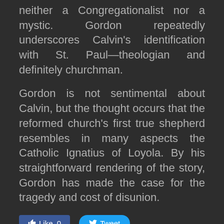neither a Congregationalist nor a mystic. Gordon repeatedly underscores Calvin's identification with St. Paul—theologian and definitely churchman.
Gordon is not sentimental about Calvin, but the thought occurs that the reformed church's first true shepherd resembles in many aspects the Catholic Ignatius of Loyola. By his straightforward rendering of the story, Gordon has made the case for the tragedy and cost of disunion.
[Figure (infographic): Social sharing buttons: a Facebook Like button showing 0 likes, and a Twitter Tweet button]
0 Comments
Church History